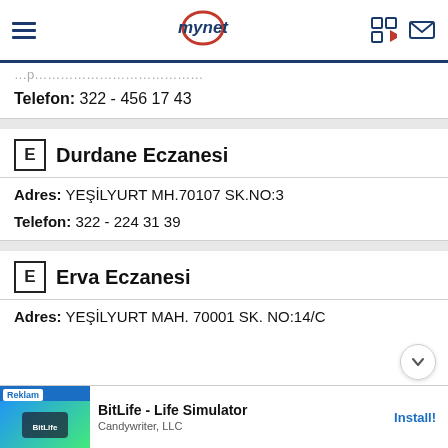mynet
Telefon: 322 - 456 17 43
E Durdane Eczanesi
Adres: YEŞİLYURT MH.70107 SK.NO:3
Telefon: 322 - 224 31 39
E Erva Eczanesi
Adres: YEŞİLYURT MAH. 70001 SK. NO:14/C
[Figure (screenshot): Advertisement banner for BitLife - Life Simulator by Candywriter, LLC with Install button]